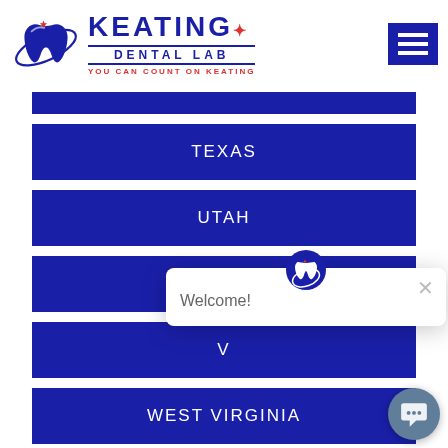[Figure (logo): Keating Dental Lab logo with blue tooth icon and star, text reads KEATING DENTAL LAB YOU CAN COUNT ON KEATING]
TEXAS
UTAH
VERMONT
VIRGINIA (partial)
WEST VIRGINIA
WYOMING (partial)
Welcome!